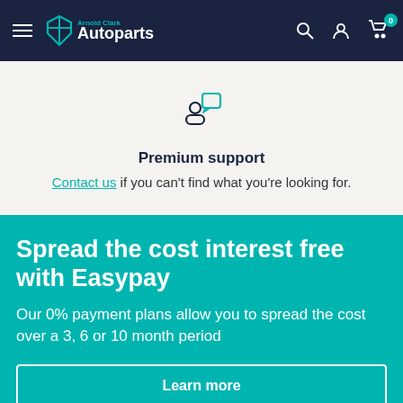Arnold Clark Autoparts
[Figure (illustration): Support icon: person silhouette with speech/chat bubble]
Premium support
Contact us if you can't find what you're looking for.
Spread the cost interest free with Easypay
Our 0% payment plans allow you to spread the cost over a 3, 6 or 10 month period
Learn more